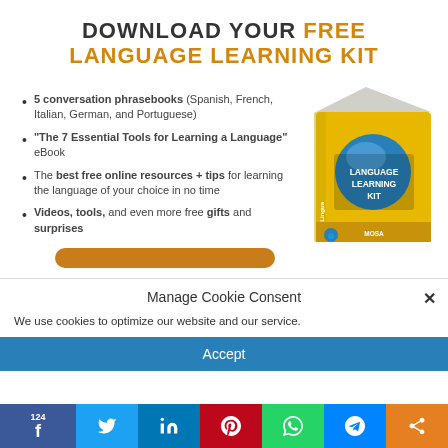DOWNLOAD YOUR FREE LANGUAGE LEARNING KIT
5 conversation phrasebooks (Spanish, French, Italian, German, and Portuguese)
"The 7 Essential Tools for Learning a Language" eBook
The best free online resources + tips for learning the language of your choice in no time
Videos, tools, and even more free gifts and surprises
[Figure (illustration): MosaLingua Language Learning Kit box product image]
Manage Cookie Consent
We use cookies to optimize our website and our service.
Accept
124 Facebook share | Twitter | LinkedIn | Pinterest | WhatsApp | Messenger | Share